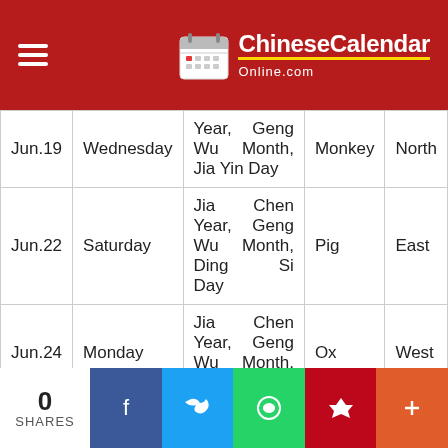ChineseCalendarOnline.com
| Date | Day | Chinese Calendar | Zodiac | Direction |
| --- | --- | --- | --- | --- |
| Jun.19 | Wednesday | Year, Geng Wu Month, Jia Yin Day | Monkey | North |
| Jun.22 | Saturday | Jia Chen Year, Geng Wu Month, Ding Si Day | Pig | East |
| Jun.24 | Monday | Jia Chen Year, Geng Wu Month, Ji Wei Day | Ox | West |
|  |  | Jia Chen ... |  |  |
0 SHARES | Facebook | Twitter | WhatsApp | Pinterest | More